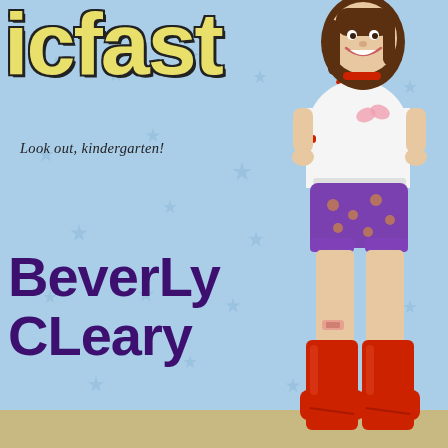[Figure (illustration): Book cover illustration showing a cartoon girl with a real photo face, wearing a white t-shirt with butterfly, purple floral shorts, and red boots, standing confidently. Background is light blue with faded stars. Partial title 'icfast' visible in yellow with black outline at top. Author name 'Beverly Cleary' in large dark purple text on left side. Subtitle 'Look out, kindergarten!' in italic serif text.]
icfast
Look out, kindergarten!
Beverly Cleary